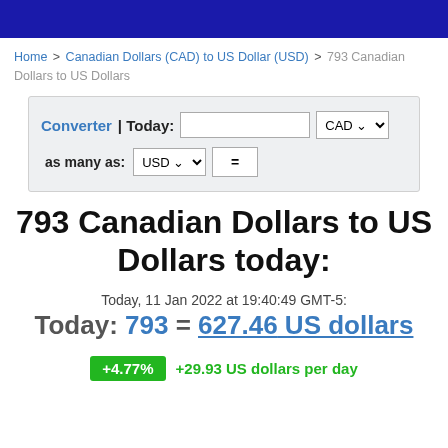Home > Canadian Dollars (CAD) to US Dollar (USD) > 793 Canadian Dollars to US Dollars
[Figure (screenshot): Currency converter widget with input field, CAD currency selector, USD selector, and equals button]
793 Canadian Dollars to US Dollars today:
Today, 11 Jan 2022 at 19:40:49 GMT-5:
Today: 793 = 627.46 US dollars
+4.77% +29.93 US dollars per day